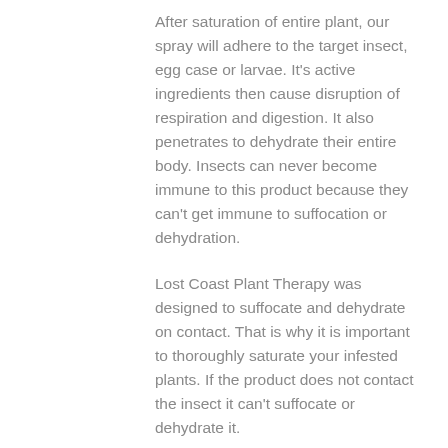After saturation of entire plant, our spray will adhere to the target insect, egg case or larvae. It's active ingredients then cause disruption of respiration and digestion. It also penetrates to dehydrate their entire body. Insects can never become immune to this product because they can't get immune to suffocation or dehydration.
Lost Coast Plant Therapy was designed to suffocate and dehydrate on contact. That is why it is important to thoroughly saturate your infested plants. If the product does not contact the insect it can't suffocate or dehydrate it.
Many insects and diseases are killed on contact with one application. Others, take repeat application to eliminate the problem.